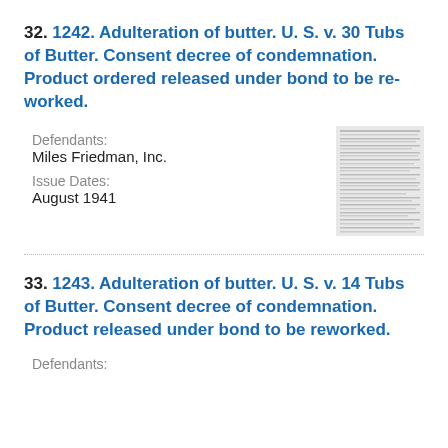32. 1242. Adulteration of butter. U. S. v. 30 Tubs of Butter. Consent decree of condemnation. Product ordered released under bond to be re-worked.
Defendants:
Miles Friedman, Inc.
Issue Dates:
August 1941
[Figure (other): Thumbnail image of a scanned document page]
33. 1243. Adulteration of butter. U. S. v. 14 Tubs of Butter. Consent decree of condemnation. Product released under bond to be reworked.
Defendants: